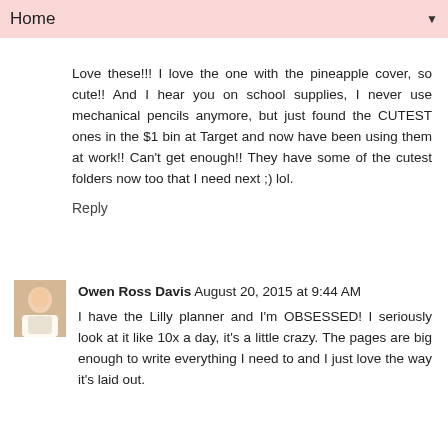Home ▼
Love these!!! I love the one with the pineapple cover, so cute!! And I hear you on school supplies, I never use mechanical pencils anymore, but just found the CUTEST ones in the $1 bin at Target and now have been using them at work!! Can't get enough!! They have some of the cutest folders now too that I need next ;) lol.
Reply
Owen Ross Davis August 20, 2015 at 9:44 AM
I have the Lilly planner and I'm OBSESSED! I seriously look at it like 10x a day, it's a little crazy. The pages are big enough to write everything I need to and I just love the way it's laid out.